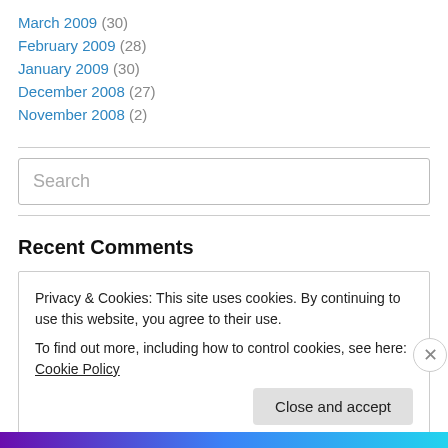March 2009 (30)
February 2009 (28)
January 2009 (30)
December 2008 (27)
November 2008 (2)
Search
Recent Comments
Privacy & Cookies: This site uses cookies. By continuing to use this website, you agree to their use.
To find out more, including how to control cookies, see here: Cookie Policy
Close and accept